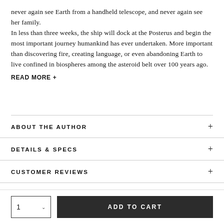never again see Earth from a handheld telescope, and never again see her family.
In less than three weeks, the ship will dock at the Posterus and begin the most important journey humankind has ever undertaken. More important than discovering fire, creating language, or even abandoning Earth to live confined in biospheres among the asteroid belt over 100 years ago.
READ MORE +
ABOUT THE AUTHOR
DETAILS & SPECS
CUSTOMER REVIEWS